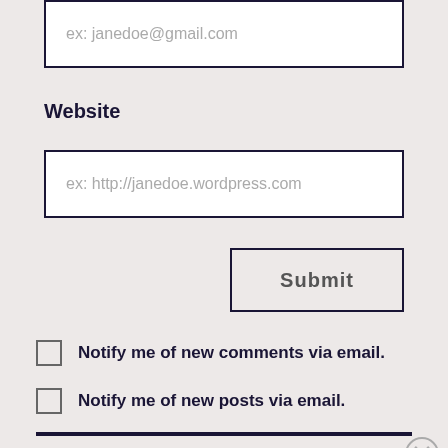ex: janedoe@gmail.com
Website
ex: http://janedoe.wordpress.com
Submit
Notify me of new comments via email.
Notify me of new posts via email.
Advertisements